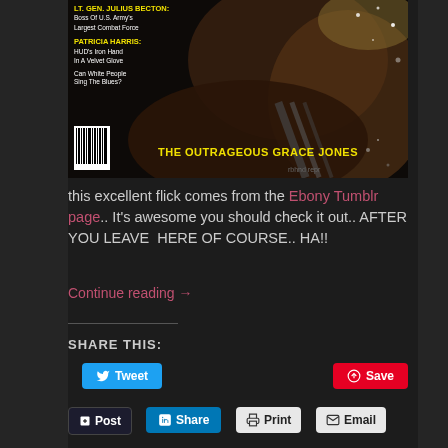[Figure (photo): Magazine cover showing Grace Jones with yellow text overlays including 'LT. GEN. JULIUS BECTON: Boss Of U.S. Army's Largest Combat Force', 'PATRICIA HARRIS: HUD's Iron Hand In A Velvet Glove', 'Can White People Sing The Blues?', and 'THE OUTRAGEOUS GRACE JONES']
this excellent flick comes from the Ebony Tumblr page.. It's awesome you should check it out.. AFTER YOU LEAVE  HERE OF COURSE.. HA!!
Continue reading →
SHARE THIS:
Tweet
Save
Post
Share
Print
Email